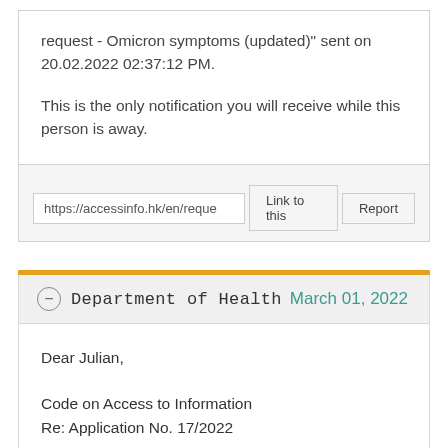request - Omicron symptoms (updated)" sent on 20.02.2022 02:37:12 PM.
This is the only notification you will receive while this person is away.
https://accessinfo.hk/en/reque
Department of Health March 01, 2022
Dear Julian,
Code on Access to Information
Re: Application No. 17/2022